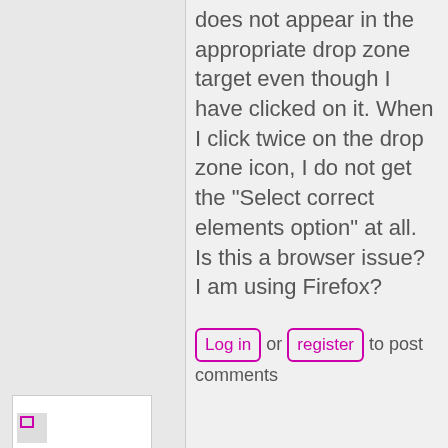does not appear in the appropriate drop zone target even though I have clicked on it.  When I click twice on the drop zone icon, I do not get the "Select correct elements option" at all. Is this a browser issue? I am using Firefox?
Log in or register to post comments
fnoks's